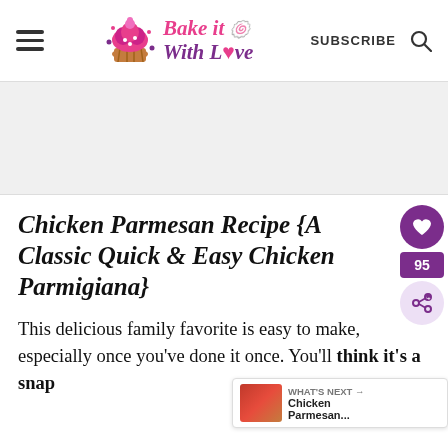Bake it With Love — SUBSCRIBE
[Figure (logo): Bake it With Love logo with cupcake icon and stylized text]
[Figure (other): Advertisement placeholder area (gray box)]
Chicken Parmesan Recipe {A Classic Quick & Easy Chicken Parmigiana}
This delicious family favorite is easy to make, especially once you've done it once. You'll think it's a snap